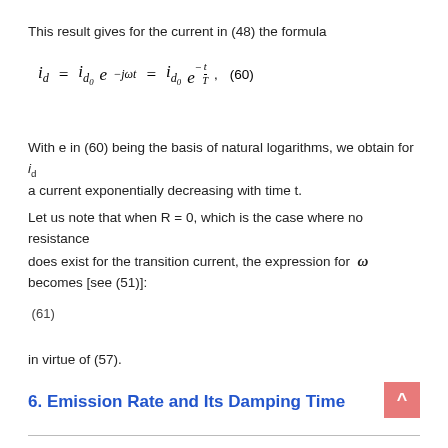This result gives for the current in (48) the formula
With e in (60) being the basis of natural logarithms, we obtain for i_d a current exponentially decreasing with time t.
Let us note that when R = 0, which is the case where no resistance does exist for the transition current, the expression for ω becomes [see (51)]:
in virtue of (57).
6. Emission Rate and Its Damping Time